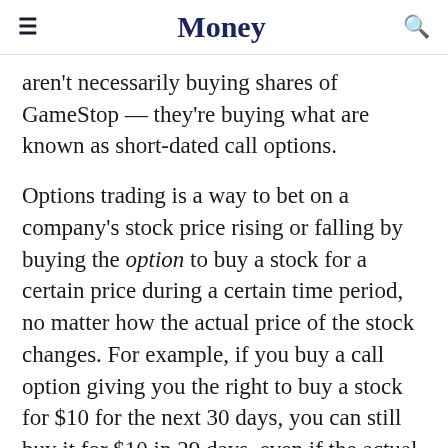Money
aren't necessarily buying shares of GameStop — they're buying what are known as short-dated call options.
Options trading is a way to bet on a company's stock price rising or falling by buying the option to buy a stock for a certain price during a certain time period, no matter how the actual price of the stock changes. For example, if you buy a call option giving you the right to buy a stock for $10 for the next 30 days, you can still buy it for $10 in 29 days, even if the actual price of